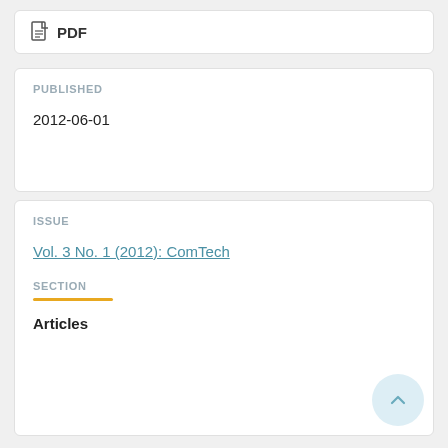PDF
PUBLISHED
2012-06-01
ISSUE
Vol. 3 No. 1 (2012): ComTech
SECTION
Articles